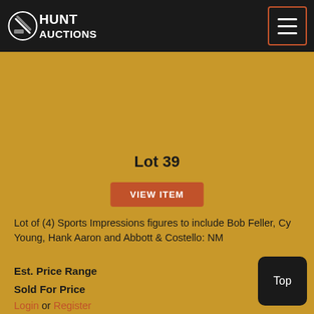Hunt Auctions
Lot 39
VIEW ITEM
Lot of (4) Sports Impressions figures to include Bob Feller, Cy Young, Hank Aaron and Abbott & Costello: NM
Est. Price Range
Sold For Price
Login or Register